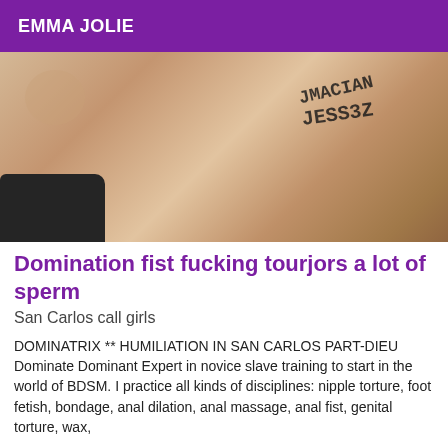EMMA JOLIE
[Figure (photo): Close-up photo of a person's back/skin with handwritten text on it, dark object visible at bottom left]
Domination fist fucking tourjors a lot of sperm
San Carlos call girls
DOMINATRIX ** HUMILIATION IN SAN CARLOS PART-DIEU Dominate Dominant Expert in novice slave training to start in the world of BDSM. I practice all kinds of disciplines: nipple torture, foot fetish, bondage, anal dilation, anal massage, anal fist, genital torture, wax,